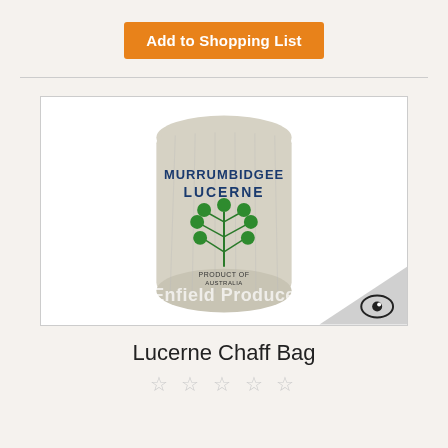Add to Shopping List
[Figure (photo): A white woven bag labeled 'Murrumbidgee Lucerne' with a green plant illustration and 'Enfield Produce' watermark overlaid. A watermark icon is visible in the bottom-right corner.]
Lucerne Chaff Bag
☆ ☆ ☆ ☆ ☆